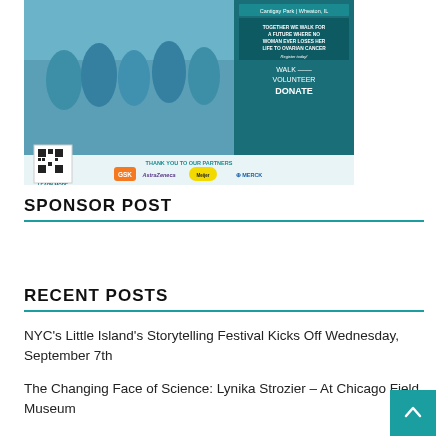[Figure (infographic): Ovarian cancer walk event advertisement showing people in teal shirts walking, with text 'Cantigay Park | Wheaton, IL', 'Together we walk for a future where no woman ever loses her life to ovarian cancer', 'Register today!', 'Walk Volunteer Donate', 'We're moving boldy forward in 2022. Join us in person or virtually!', 'REGISTER AT GIVE.OVARIAN.ORG', 'THANK YOU TO OUR PARTNERS', partner logos: GSK, AstraZeneca, Meijer, Merck, and a QR code with 'Learn More']
SPONSOR POST
RECENT POSTS
NYC's Little Island's Storytelling Festival Kicks Off Wednesday, September 7th
The Changing Face of Science: Lynika Strozier – At Chicago Field Museum